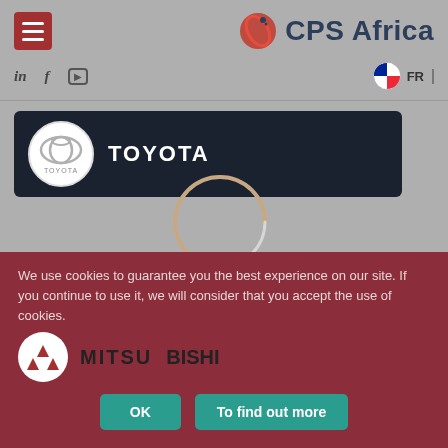CPS Africa
[Figure (logo): CPS Africa logo with red sphere icon and dark blue text]
[Figure (screenshot): Social media icons: LinkedIn (in), Facebook (f), YouTube, and FR language selector with French flag]
[Figure (logo): Toyota brand row with dark navy background, Toyota circular logo and TOYOTA text in white]
[Figure (illustration): Loading spinner (circular arc) centered on page]
[Figure (logo): Suzuki brand row with Suzuki S logo circle and SUZUKI text]
We use cookies to guarantee you the best experience on our site. If you continue to use it, we will consider that you accept the use of cookies.
[Figure (logo): Mitsubishi brand row partially visible, with Mitsubishi logo and MITSU... text]
OK
To find out more